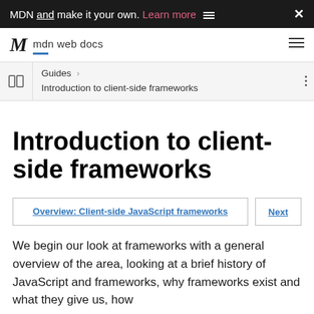MDN and make it your own. Learn more
[Figure (logo): MDN Web Docs logo with slash mark and site name]
Guides > Introduction to client-side frameworks
Introduction to client-side frameworks
Overview: Client-side JavaScript frameworks | Next
We begin our look at frameworks with a general overview of the area, looking at a brief history of JavaScript and frameworks, why frameworks exist and what they give us, how